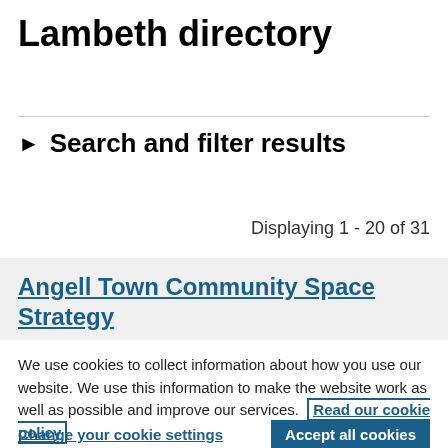Lambeth directory
▶  Search and filter results
Displaying 1 - 20 of 31
Angell Town Community Space Strategy
We use cookies to collect information about how you use our website. We use this information to make the website work as well as possible and improve our services.  Read our cookie policy
Change your cookie settings
Accept all cookies